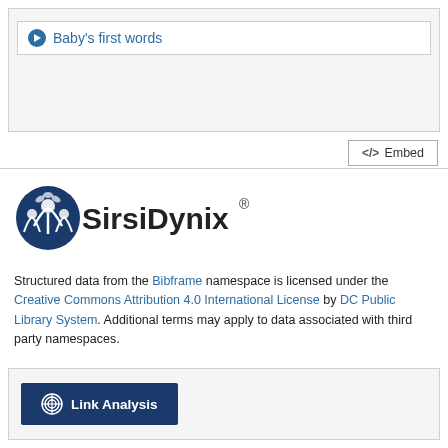Baby's first words
</>  Embed
[Figure (logo): SirsiDynix logo with icon showing people figures and the text SirsiDynix]
Structured data from the Bibframe namespace is licensed under the Creative Commons Attribution 4.0 International License by DC Public Library System. Additional terms may apply to data associated with third party namespaces.
Link Analysis